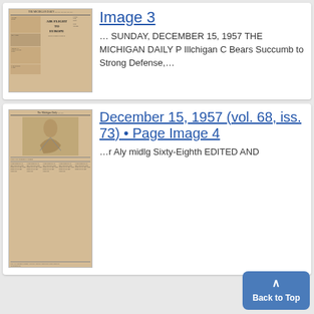[Figure (photo): Thumbnail of a newspaper front page from December 15, 1957, The Michigan Daily, showing 'AIR FLIGHT TO EUROPE' headline]
Image 3
… SUNDAY, DECEMBER 15, 1957 THE MICHIGAN DAILY P Illchigan C Bears Succumb to Strong Defense,...
[Figure (photo): Thumbnail of a newspaper front page from December 15, 1957, The Michigan Daily, vol. 68, iss. 73, Page Image 4, showing an illustrated figure and multiple columns of text]
December 15, 1957 (vol. 68, iss. 73) • Page Image 4
...r Aly midlg Sixty-Eighth EDITED AND